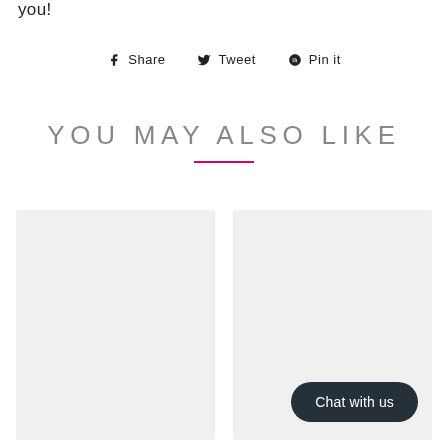you!
Share  Tweet  Pin it
YOU MAY ALSO LIKE
[Figure (photo): Two placeholder product image cards side by side with a 'Chat with us' button on the right card]
Chat with us